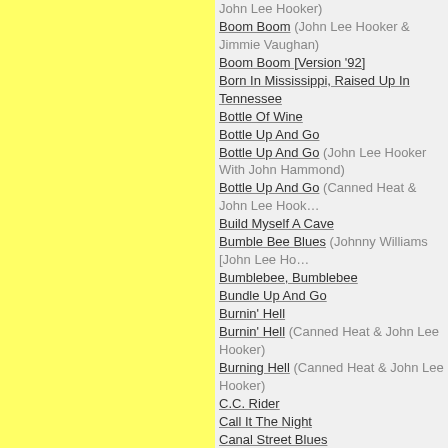John Lee Hooker)
Boom Boom (John Lee Hooker & Jimmie Vaughan)
Boom Boom [Version '92]
Born In Mississippi, Raised Up In Tennessee
Bottle Of Wine
Bottle Up And Go
Bottle Up And Go (John Lee Hooker With John Hammond)
Bottle Up And Go (Canned Heat & John Lee Hooker)
Build Myself A Cave
Bumble Bee Blues (Johnny Williams [John Lee Hooker])
Bumblebee, Bumblebee
Bundle Up And Go
Burnin' Hell
Burnin' Hell (Canned Heat & John Lee Hooker)
Burning Hell (Canned Heat & John Lee Hooker)
C.C. Rider
Call It The Night
Canal Street Blues
Can't You See What You're Doin' To Me
Catfish (John Lee)
Catfish Blues
Chill Out (Things Gonna Change) (John Lee Hooker feat. Carlos Santana & The Santana Band)
Christmas Time Blues
Church Bell Tone
Cold Chills
Cold Chills All Over Me
Come On And See About Me
Come On Baby
Cool Little Car
Cotton Pickin' Boogie
Country Boy
Crawlin' Black Spider
Crawlin' Kingsnake
Crawlin' Kingsnake (John Lee Hooker With Keith Richards)